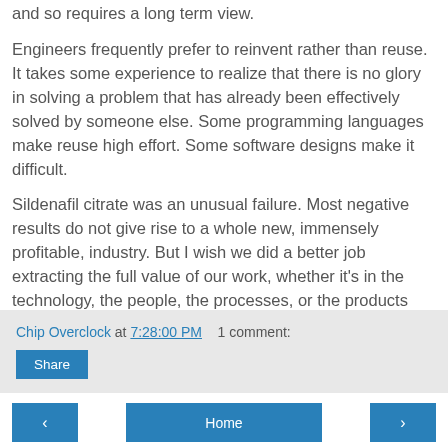and so requires a long term view.
Engineers frequently prefer to reinvent rather than reuse. It takes some experience to realize that there is no glory in solving a problem that has already been effectively solved by someone else. Some programming languages make reuse high effort. Some software designs make it difficult.
Sildenafil citrate was an unusual failure. Most negative results do not give rise to a whole new, immensely profitable, industry. But I wish we did a better job extracting the full value of our work, whether it's in the technology, the people, the processes, or the products themselves.
Chip Overclock at 7:28:00 PM   1 comment:
Share
Home